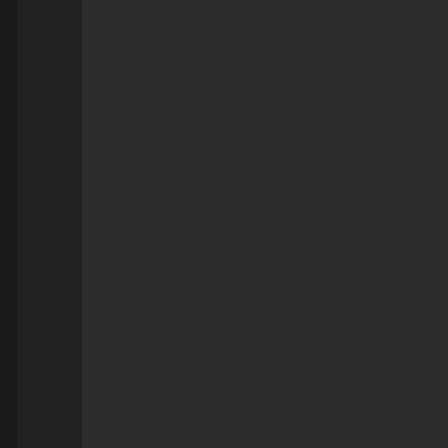I'm not even sure what to make o
To be honest, I'm not even sure he unde used a single word incorrectly once, it's sense at all.
Rod, it's patently obvious that you're the 'butthurt' makes it stick out like a sore th support for your arguments and ideas is purposes. He's never posted on the fou all in different corps, alliances, and from in whatsoever? Yeah, they must all be n
So yes, I have been busy with RL lately address some of your ludicrous claims a time. It's almost not fun anymore, Rod. needs child. It conflicts me, Rod. It conf
As for my killboard, I've said many times multitude of other non-miner related kills